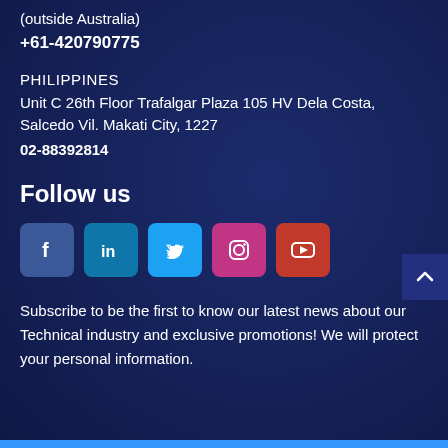(outside Australia)
+61-420790775
PHILIPPINES
Unit C 26th Floor Trafalgar Plaza 105 HV Dela Costa, Salcedo Vil. Makati City, 1227
02-88392814
Follow us
[Figure (infographic): Row of five social media icon buttons: Facebook (dark blue), LinkedIn (blue), Twitter (light blue), Instagram (pink/magenta), YouTube (red)]
Subscribe to be the first to know our latest news about our Technical industry and exclusive promotions! We will protect your personal information.